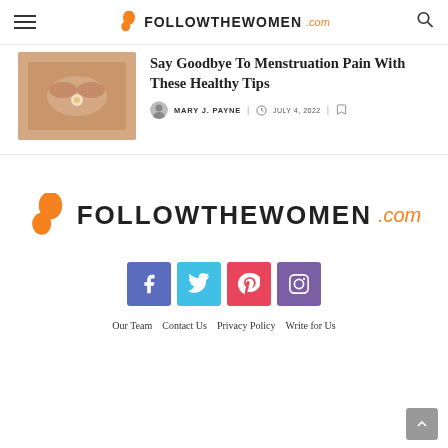FOLLOWTHEWOMEN.com
Say Goodbye To Menstruation Pain With These Healthy Tips
MARY J. PAYNE | JULY 4, 2022
[Figure (logo): FollowTheWomen.com logo with orange female silhouette icon and bold uppercase FOLLOWTHEWOMEN text with orange cursive .com]
[Figure (infographic): Four social media icon buttons: Facebook (blue-purple), Twitter (light blue), Pinterest (red), Instagram (purple)]
Our Team  Contact Us  Privacy Policy  Write for Us